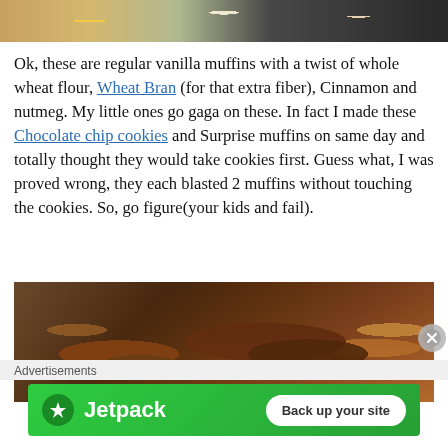[Figure (photo): Top partial image of vanilla muffins with yellow filling and white flowers on dark background]
Ok, these are regular vanilla muffins with a twist of whole wheat flour, Wheat Bran (for that extra fiber), Cinnamon and nutmeg. My little ones go gaga on these. In fact I made these Chocolate chip cookies and Surprise muffins on same day and totally thought they would take cookies first. Guess what, I was proved wrong, they each blasted 2 muffins without touching the cookies. So, go figure(your kids and fail).
[Figure (photo): Close-up photo of baked muffins with cinnamon sugar coating on blue cloth background, showing cross-section with colorful paper cups]
Advertisements
[Figure (screenshot): Jetpack advertisement banner with green background showing Jetpack logo and 'Back up your site' button]